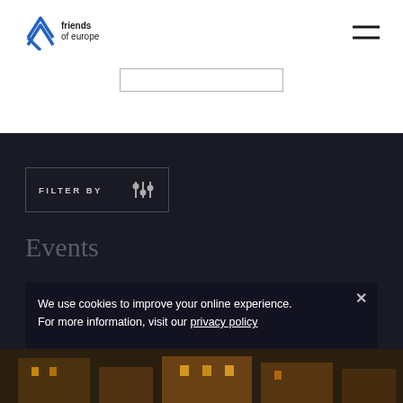friends of europe
[Figure (other): Search input bar with border]
[Figure (other): FILTER BY button with sliders icon on dark background]
Events
We use cookies to improve your online experience.
For more information, visit our privacy policy
[Figure (photo): Night-time photo of a classical European building with warm lighting at bottom of page]